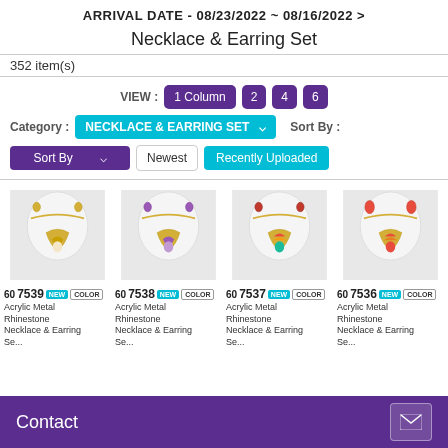ARRIVAL DATE - 08/23/2022 ~ 08/16/2022 >
Necklace & Earring Set
352 item(s)
VIEW : 1 Column  2  4  6
Category : NECKLACE & EARRING SET   Sort By :
Sort By   Newest   Recently Uploaded
[Figure (photo): Product 607539 - Acrylic Metal Rhinestone Necklace & Earring Set, NEW COLOR badge]
[Figure (photo): Product 607538 - Acrylic Metal Rhinestone Necklace & Earring Set, NEW COLOR badge]
[Figure (photo): Product 607537 - Acrylic Metal Rhinestone Necklace & Earring Set, NEW COLOR badge]
[Figure (photo): Product 607536 - Acrylic Metal Rhinestone Necklace & Earring Set, NEW COLOR badge]
Contact